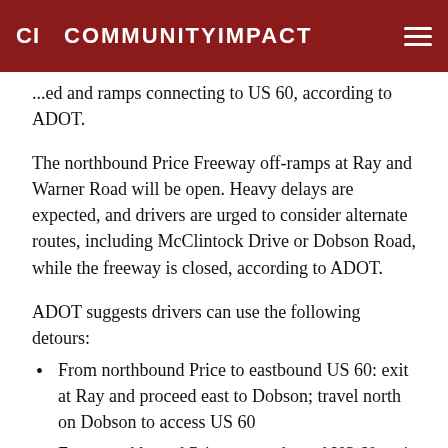CI COMMUNITYIMPACT
...ed and ramps connecting to US 60, according to ADOT.
The northbound Price Freeway off-ramps at Ray and Warner Road will be open. Heavy delays are expected, and drivers are urged to consider alternate routes, including McClintock Drive or Dobson Road, while the freeway is closed, according to ADOT.
ADOT suggests drivers can use the following detours:
From northbound Price to eastbound US 60: exit at Ray and proceed east to Dobson; travel north on Dobson to access US 60
From northbound Price to westbound US 60: exit at Ray and proceed west to McClintock; travel north